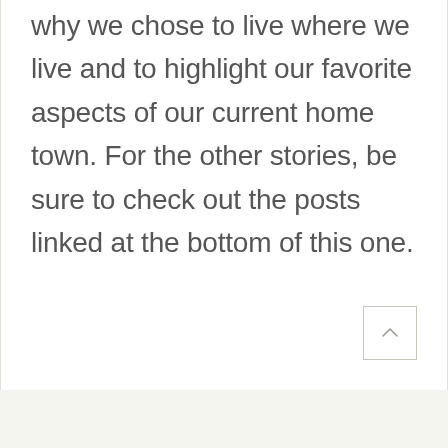why we chose to live where we live and to highlight our favorite aspects of our current home town. For the other stories, be sure to check out the posts linked at the bottom of this one.